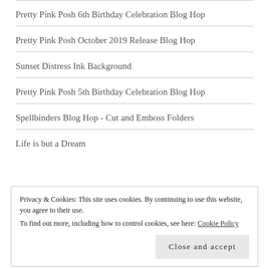Pretty Pink Posh 6th Birthday Celebration Blog Hop
Pretty Pink Posh October 2019 Release Blog Hop
Sunset Distress Ink Background
Pretty Pink Posh 5th Birthday Celebration Blog Hop
Spellbinders Blog Hop - Cut and Emboss Folders
Life is but a Dream
Privacy & Cookies: This site uses cookies. By continuing to use this website, you agree to their use.
To find out more, including how to control cookies, see here: Cookie Policy
Close and accept
Copyright